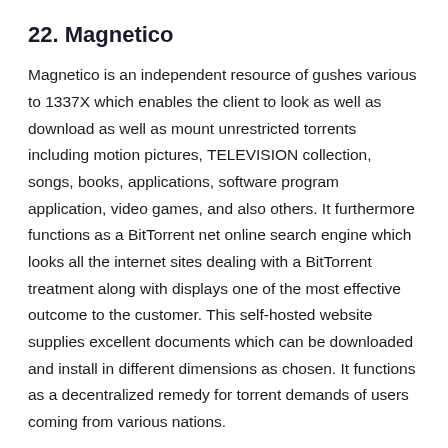22. Magnetico
Magnetico is an independent resource of gushes various to 1337X which enables the client to look as well as download as well as mount unrestricted torrents including motion pictures, TELEVISION collection, songs, books, applications, software program application, video games, and also others. It furthermore functions as a BitTorrent net online search engine which looks all the internet sites dealing with a BitTorrent treatment along with displays one of the most effective outcome to the customer. This self-hosted website supplies excellent documents which can be downloaded and install in different dimensions as chosen. It functions as a decentralized remedy for torrent demands of users coming from various nations.
23. BTscene.eu